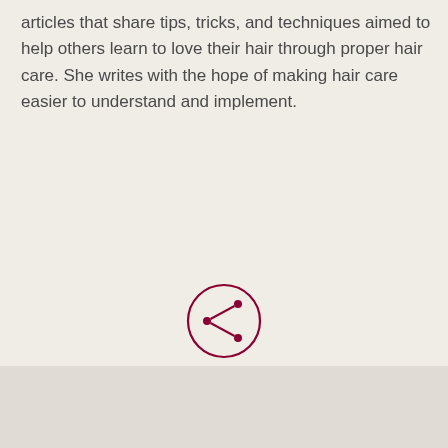articles that share tips, tricks, and techniques aimed to help others learn to love their hair through proper hair care. She writes with the hope of making hair care easier to understand and implement.
[Figure (illustration): A share icon — three connected dots in a branching network pattern — inside a dark red circular border, with the word SHARE in bold dark red capitals underneath.]